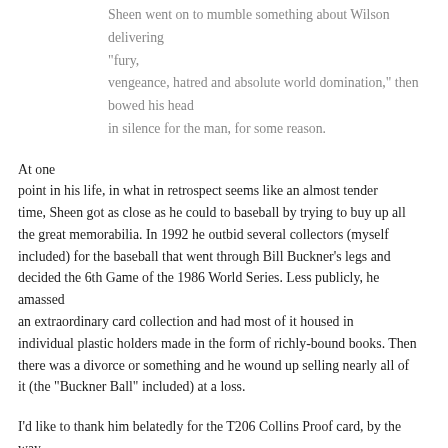Sheen went on to mumble something about Wilson delivering “fury,
vengeance, hatred and absolute world domination,” then bowed his head
in silence for the man, for some reason.
At one
point in his life, in what in retrospect seems like an almost tender
time, Sheen got as close as he could to baseball by trying to buy up all
the great memorabilia. In 1992 he outbid several collectors (myself
included) for the baseball that went through Bill Buckner’s legs and
decided the 6th Game of the 1986 World Series. Less publicly, he amassed
an extraordinary card collection and had most of it housed in
individual plastic holders made in the form of richly-bound books. Then
there was a divorce or something and he wound up selling nearly all of
it (the “Buckner Ball” included) at a loss.
I’d like to thank him belatedly for the T206 Collins Proof card, by the way.
But